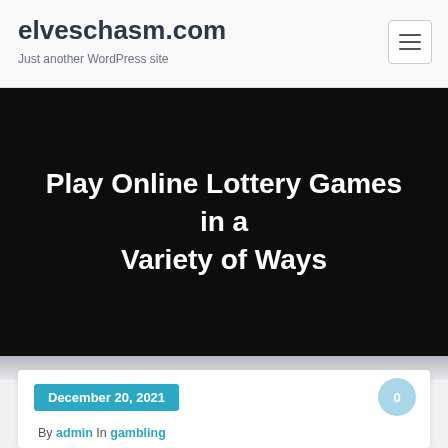elveschasm.com
Just another WordPress site
Play Online Lottery Games in a Variety of Ways
December 20, 2021
0
By admin In gambling